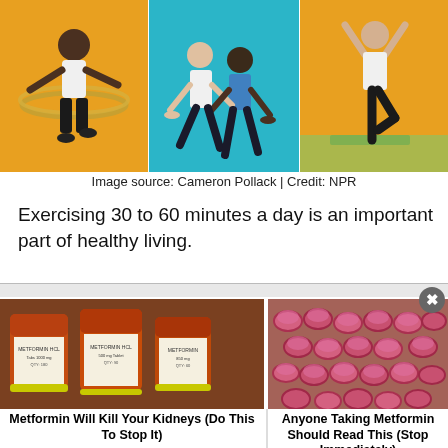[Figure (photo): Three exercise photos side by side: left shows a man hula-hooping on yellow background, center shows a man and woman doing pushup/yoga poses on teal background, right shows a woman in tree yoga pose on yellow/green background.]
Image source: Cameron Pollack | Credit: NPR
Exercising 30 to 60 minutes a day is an important part of healthy living.
[Figure (photo): Photo of multiple orange prescription pill bottles with white labels, close-up view.]
Metformin Will Kill Your Kidneys (Do This To Stop It)
[Figure (photo): Photo of cupping therapy being applied to a person's back, showing multiple glass/suction cups.]
Anyone Taking Metformin Should Read This (Stop Immediately)